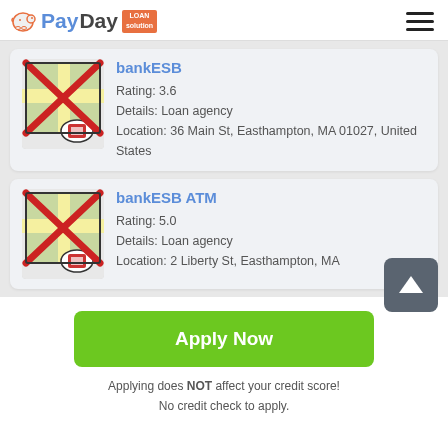PayDay Loan Solution
[Figure (screenshot): Listing card for bankESB showing a map icon with red X overlay]
bankESB
Rating: 3.6
Details: Loan agency
Location: 36 Main St, Easthampton, MA 01027, United States
[Figure (screenshot): Listing card for bankESB ATM showing a map icon with red X overlay]
bankESB ATM
Rating: 5.0
Details: Loan agency
Location: 2 Liberty St, Easthampton, MA
Apply Now
Applying does NOT affect your credit score!
No credit check to apply.